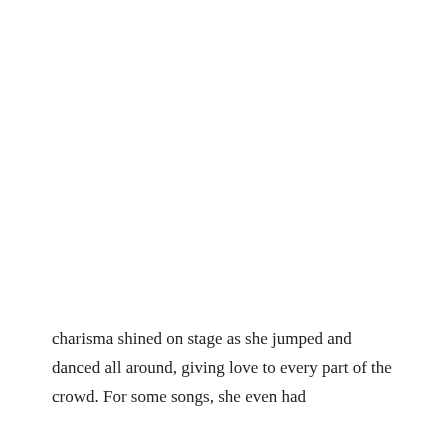charisma shined on stage as she jumped and danced all around, giving love to every part of the crowd. For some songs, she even had